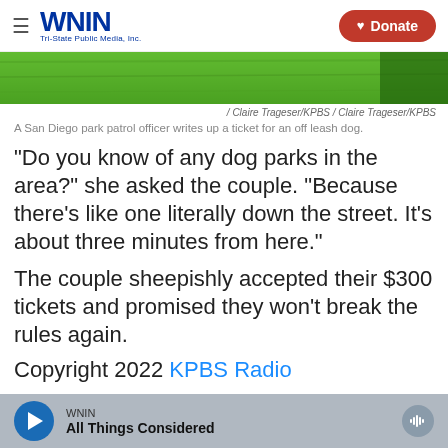WNIN Tri-State Public Media, Inc. | Donate
[Figure (photo): Grass/turf image cropped at top of article]
/ Claire Trageser/KPBS / Claire Trageser/KPBS
A San Diego park patrol officer writes up a ticket for an off leash dog.
"Do you know of any dog parks in the area?" she asked the couple. "Because there's like one literally down the street. It's about three minutes from here."
The couple sheepishly accepted their $300 tickets and promised they won't break the rules again.
Copyright 2022 KPBS Radio
WNIN | All Things Considered